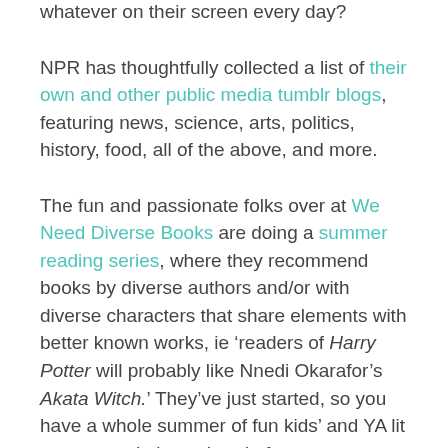whatever on their screen every day?
NPR has thoughtfully collected a list of their own and other public media tumblr blogs, featuring news, science, arts, politics, history, food, all of the above, and more.
The fun and passionate folks over at We Need Diverse Books are doing a summer reading series, where they recommend books by diverse authors and/or with diverse characters that share elements with better known works, ie ‘readers of Harry Potter will probably like Nnedi Okarafor’s Akata Witch.’ They’ve just started, so you have a whole summer of fun kids’ and YA lit recommendations ahead of you.
Looking for a few more ‘grown up’ reads? Try the folks at Go Book Yourself, where real live readers recommend 4